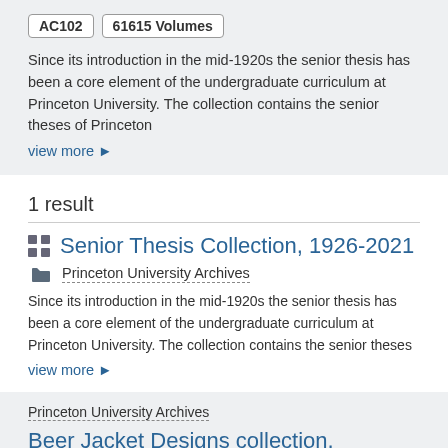AC102 | 61615 Volumes
Since its introduction in the mid-1920s the senior thesis has been a core element of the undergraduate curriculum at Princeton University. The collection contains the senior theses of Princeton
view more ▶
1 result
Senior Thesis Collection, 1926-2021
Princeton University Archives
Since its introduction in the mid-1920s the senior thesis has been a core element of the undergraduate curriculum at Princeton University. The collection contains the senior theses
view more ▶
Princeton University Archives
Beer Jacket Designs collection,